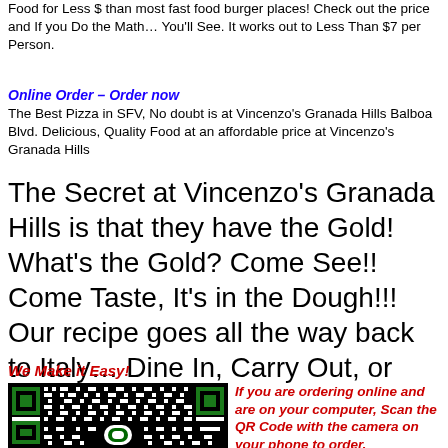Food for Less $ than most fast food burger places! Check out the price and If you Do the Math… You'll See. It works out to Less Than $7 per Person.
Online Order – Order now
The Best Pizza in SFV, No doubt is at Vincenzo's Granada Hills Balboa Blvd. Delicious, Quality Food at an affordable price at Vincenzo's Granada Hills
The Secret at Vincenzo's Granada Hills is that they have the Gold! What's the Gold? Come See!! Come Taste, It's in the Dough!!! Our recipe goes all the way back to Italy… Dine In, Carry Out, or Delivery.
We Make it Easy!
[Figure (other): QR code for Vincenzo's Granada Hills online ordering]
If you are ordering online and are on your computer, Scan the QR Code with the camera on your phone to order.